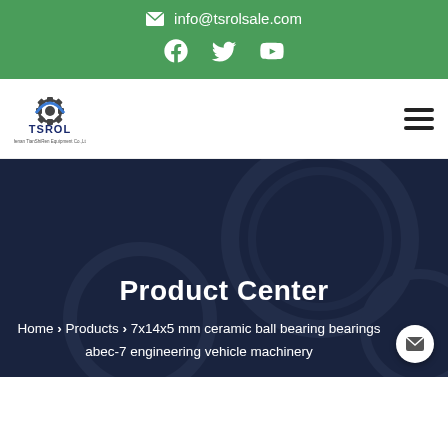info@tsrolsale.com
[Figure (logo): TSROL company logo with gear icon and text 'Henan TianShiRen Equipment Co.,Ltd']
Product Center
Home > Products > 7x14x5 mm ceramic ball bearing bearings abec-7 engineering vehicle machinery